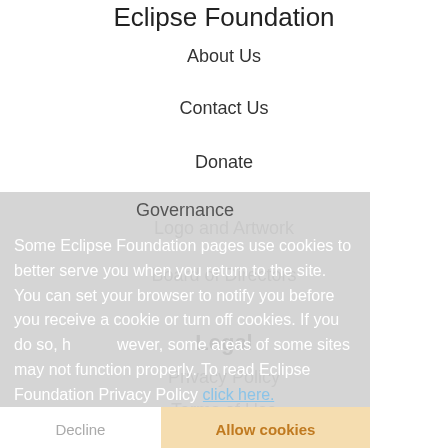Eclipse Foundation
About Us
Contact Us
Donate
Governance
Logo and Artwork
Board of Directors
Some Eclipse Foundation pages use cookies to better serve you when you return to the site. You can set your browser to notify you before you receive a cookie or turn off cookies. If you do so, however, some areas of some sites may not function properly. To read Eclipse Foundation Privacy Policy click here.
Legal
Privacy Policy
Terms of Use
Copyright Agent
Eclipse Public License
Legal Resources